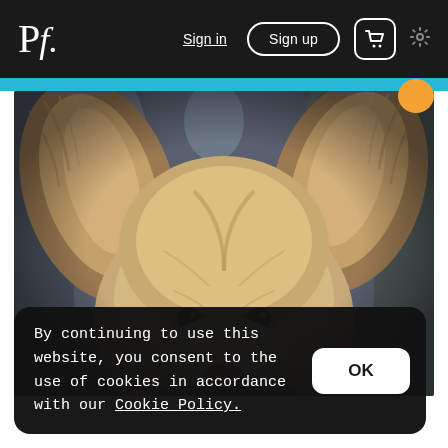Pf. | Sign in | Sign up | [cart] | [settings]
[Figure (photo): Close-up photo of a Yorkshire Terrier dog, showing fluffy ears and face, shot with shallow depth of field. Blurred background with bokeh.]
By continuing to use this website, you consent to the use of cookies in accordance with our Cookie Policy.